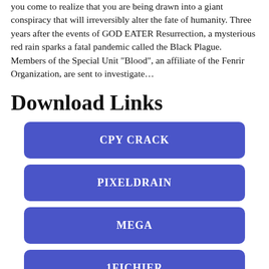you come to realize that you are being drawn into a giant conspiracy that will irreversibly alter the fate of humanity. Three years after the events of GOD EATER Resurrection, a mysterious red rain sparks a fatal pandemic called the Black Plague. Members of the Special Unit “Blood”, an affiliate of the Fenrir Organization, are sent to investigate…
Download Links
CPY CRACK
PIXELDRAIN
MEGA
1FICHIER
LETSUPLOAD